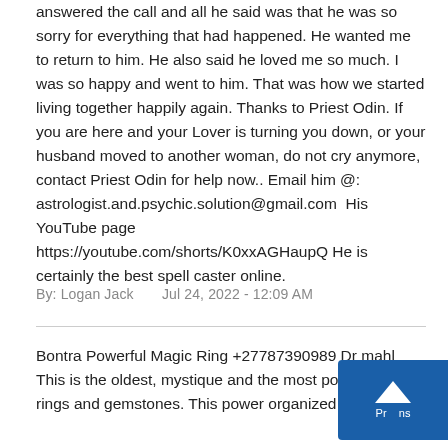answered the call and all he said was that he was so sorry for everything that had happened. He wanted me to return to him. He also said he loved me so much. I was so happy and went to him. That was how we started living together happily again. Thanks to Priest Odin. If you are here and your Lover is turning you down, or your husband moved to another woman, do not cry anymore, contact Priest Odin for help now.. Email him @: astrologist.and.psychic.solution@gmail.com  His YouTube page https://youtube.com/shorts/K0xxAGHaupQ He is certainly the best spell caster online.
By: Logan Jack    Jul 24, 2022 - 12:09 AM
Bontra Powerful Magic Ring +27787390989 Dr mahla... This is the oldest, mystique and the most powerful m... rings and gemstones. This power organized by the g...